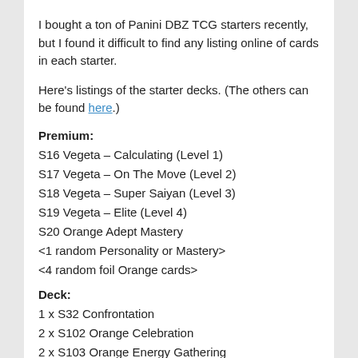I bought a ton of Panini DBZ TCG starters recently, but I found it difficult to find any listing online of cards in each starter.
Here's listings of the starter decks. (The others can be found here.)
Premium:
S16 Vegeta – Calculating (Level 1)
S17 Vegeta – On The Move (Level 2)
S18 Vegeta – Super Saiyan (Level 3)
S19 Vegeta – Elite (Level 4)
S20 Orange Adept Mastery
<1 random Personality or Mastery>
<4 random foil Orange cards>
Deck:
1 x S32 Confrontation
2 x S102 Orange Celebration
2 x S103 Orange Energy Gathering
2 x S104 Orange Aura Drill